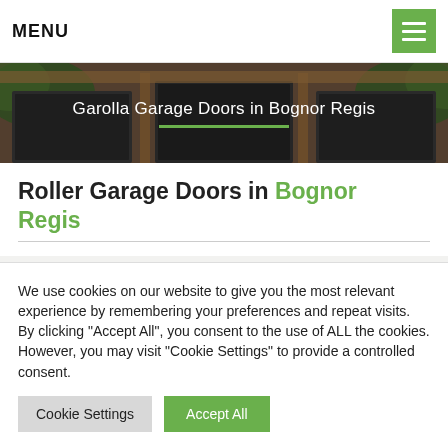MENU
[Figure (photo): Hero banner showing garage doors with wooden frame structure, overlaid with text 'Garolla Garage Doors in Bognor Regis' and a green underline]
Roller Garage Doors in Bognor Regis
Welcome To Your Local Installer...
We use cookies on our website to give you the most relevant experience by remembering your preferences and repeat visits. By clicking "Accept All", you consent to the use of ALL the cookies. However, you may visit "Cookie Settings" to provide a controlled consent.